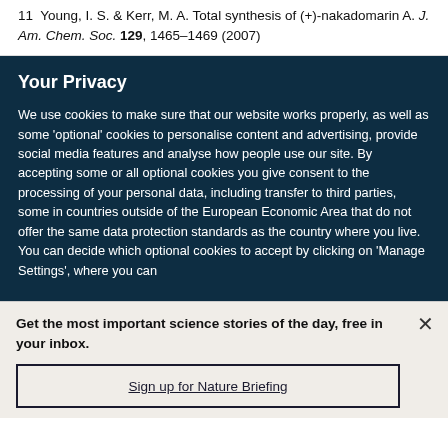11 Young, I. S. & Kerr, M. A. Total synthesis of (+)-nakadomarin A. J. Am. Chem. Soc. 129, 1465–1469 (2007)
Your Privacy
We use cookies to make sure that our website works properly, as well as some 'optional' cookies to personalise content and advertising, provide social media features and analyse how people use our site. By accepting some or all optional cookies you give consent to the processing of your personal data, including transfer to third parties, some in countries outside of the European Economic Area that do not offer the same data protection standards as the country where you live. You can decide which optional cookies to accept by clicking on 'Manage Settings', where you can
Get the most important science stories of the day, free in your inbox.
Sign up for Nature Briefing